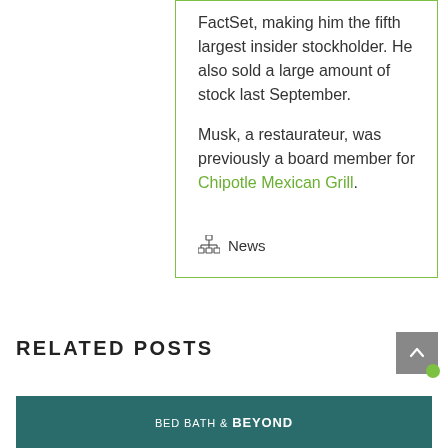FactSet, making him the fifth largest insider stockholder. He also sold a large amount of stock last September.
Musk, a restaurateur, was previously a board member for Chipotle Mexican Grill.
News
RELATED POSTS
[Figure (photo): Thumbnail image showing Bed Bath & Beyond related content with teal/dark background]